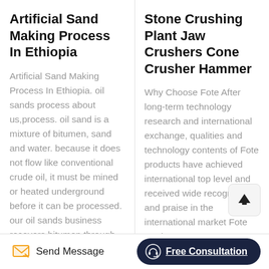Artificial Sand Making Process In Ethiopia
Artificial Sand Making Process In Ethiopia. oil sands process about us,process. oil sand is a mixture of bitumen, sand and water. because it does not flow like conventional crude oil, it must be mined or heated underground before it can be processed. our oil sands business recovers bitumen through surface
Stone Crushing Plant Jaw Crushers Cone Crusher Hammer
Why Choose Fote After long-term technology research and international exchange, qualities and technology contents of Fote products have achieved international top level and received wide recognition and praise in the international market Fote products are
Send Message   Free Consultation